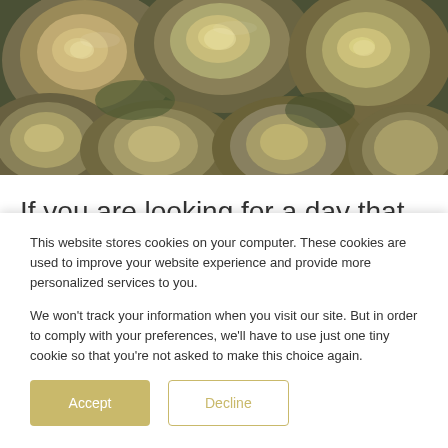[Figure (photo): Close-up photograph of multiple fresh oysters on the half shell, showing their textured shells and meat.]
If you are looking for a day that will be in your memories for a long time, then this is the perfect experience for you, your friends, and your family. We all know what oysters are, the flavor, and how it should be served. But how about the process
This website stores cookies on your computer. These cookies are used to improve your website experience and provide more personalized services to you.

We won't track your information when you visit our site. But in order to comply with your preferences, we'll have to use just one tiny cookie so that you're not asked to make this choice again.